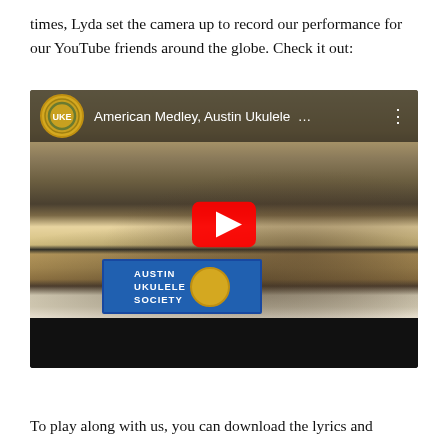times, Lyda set the camera up to record our performance for our YouTube friends around the globe. Check it out:
[Figure (screenshot): YouTube video thumbnail showing Austin Ukulele Society performance titled 'American Medley, Austin Ukulele ...' with a large crowd in a gymnasium, a performer on stage, and the Austin Ukulele Society banner visible. A red play button is centered on the video.]
To play along with us, you can download the lyrics and